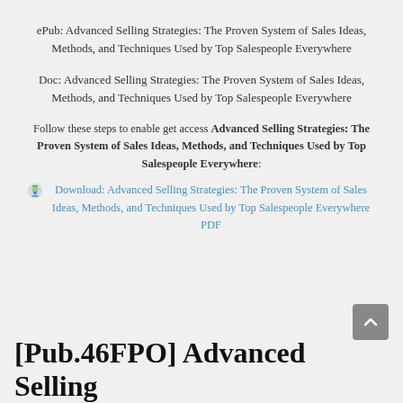ePub: Advanced Selling Strategies: The Proven System of Sales Ideas, Methods, and Techniques Used by Top Salespeople Everywhere
Doc: Advanced Selling Strategies: The Proven System of Sales Ideas, Methods, and Techniques Used by Top Salespeople Everywhere
Follow these steps to enable get access Advanced Selling Strategies: The Proven System of Sales Ideas, Methods, and Techniques Used by Top Salespeople Everywhere:
Download: Advanced Selling Strategies: The Proven System of Sales Ideas, Methods, and Techniques Used by Top Salespeople Everywhere PDF
[Pub.46FPO] Advanced Selling